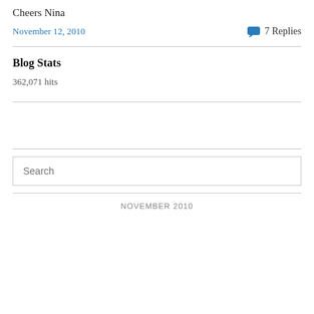Cheers Nina
November 12, 2010 · 7 Replies
Blog Stats
362,071 hits
Search
NOVEMBER 2010